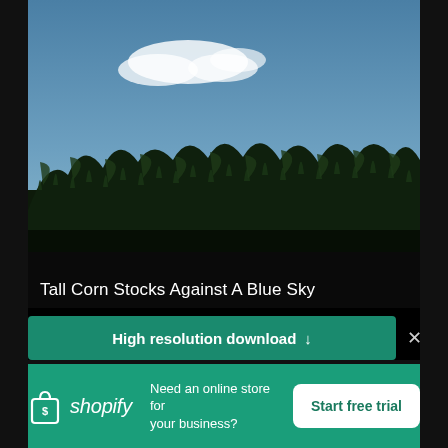[Figure (photo): Tall corn stalks silhouetted against a blue sky with white clouds]
Tall Corn Stocks Against A Blue Sky
High resolution download ↓
[Figure (logo): Shopify logo with shopping bag icon and italic shopify wordmark]
Need an online store for your business?
Start free trial